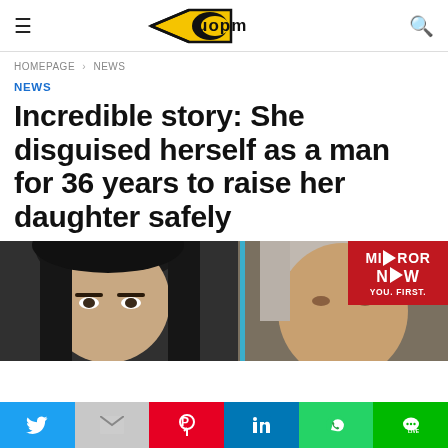CuOpm (logo)
HOMEPAGE > NEWS
NEWS
Incredible story: She disguised herself as a man for 36 years to raise her daughter safely
[Figure (photo): Two people partially shown: a dark-haired woman on the left and an older person with grey hair on the right, with a Mirror Now TV watermark overlay in the top-right corner]
Social share bar: Twitter, Gmail, Pinterest, LinkedIn, WhatsApp, Line